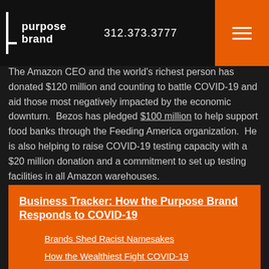purpose brand | 312.373.3777
The Amazon CEO and the world's richest person has donated $120 million and counting to battle COVID-19 and aid those most negatively impacted by the economic downturn. Bezos has pledged $100 million to help support food banks through the Feeding America organization. He is also helping to raise COVID-19 testing capacity with a $20 million donation and a commitment to set up testing facilities in all Amazon warehouses.
Business Tracker: How the Purpose Brand Responds to COVID-19
Brands Shed Racist Namesakes
How the Wealthiest Fight COVID-19
Community Support in COVID-19